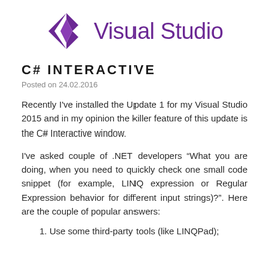[Figure (logo): Visual Studio logo with purple diamond/arrow icon and 'Visual Studio' wordmark in purple]
C# INTERACTIVE
Posted on 24.02.2016
Recently I've installed the Update 1 for my Visual Studio 2015 and in my opinion the killer feature of this update is the C# Interactive window.
I've asked couple of .NET developers “What you are doing, when you need to quickly check one small code snippet (for example, LINQ expression or Regular Expression behavior for different input strings)?”. Here are the couple of popular answers:
1. Use some third-party tools (like LINQPad);